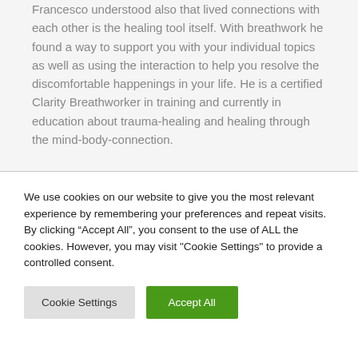Francesco understood also that lived connections with each other is the healing tool itself. With breathwork he found a way to support you with your individual topics as well as using the interaction to help you resolve the discomfortable happenings in your life. He is a certified Clarity Breathworker in training and currently in education about trauma-healing and healing through the mind-body-connection.
We use cookies on our website to give you the most relevant experience by remembering your preferences and repeat visits. By clicking “Accept All”, you consent to the use of ALL the cookies. However, you may visit "Cookie Settings" to provide a controlled consent.